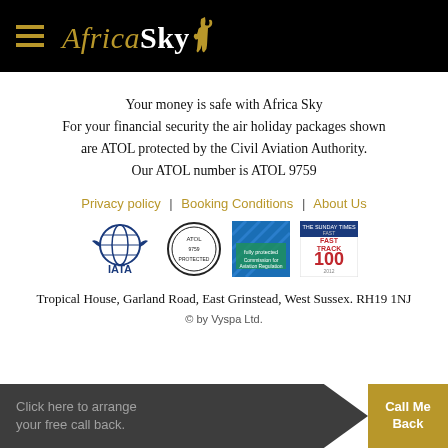Africa Sky
Your money is safe with Africa Sky
For your financial security the air holiday packages shown are ATOL protected by the Civil Aviation Authority.
Our ATOL number is ATOL 9759
Privacy policy | Booking Conditions | About Us
[Figure (logo): Four certification logos: IATA globe logo, ATOL Protected circular logo, CAA certificate logo, Sunday Times Fast Track 100 logo]
Tropical House, Garland Road, East Grinstead, West Sussex. RH19 1NJ
© by Vyspa Ltd.
Click here to arrange your free call back.
Call Me Back